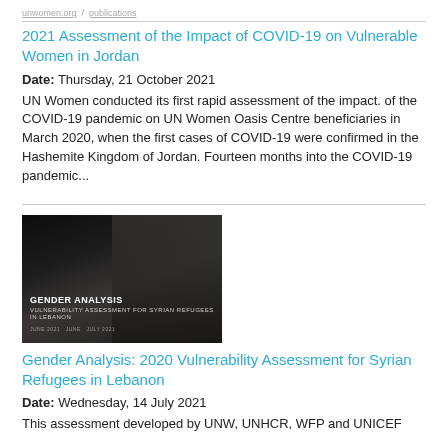unwomen.org / publications
2021 Assessment of the Impact of COVID-19 on Vulnerable Women in Jordan
Date: Thursday, 21 October 2021
UN Women conducted its first rapid assessment of the impact. of the COVID-19 pandemic on UN Women Oasis Centre beneficiaries in March 2020, when the first cases of COVID-19 were confirmed in the Hashemite Kingdom of Jordan. Fourteen months into the COVID-19 pandemic...
[Figure (photo): Cover image of Gender Analysis report showing two people (a man and a woman wearing a hijab) against a dark background, with text 'GENDER ANALYSIS' overlaid in white]
Gender Analysis: 2020 Vulnerability Assessment for Syrian Refugees in Lebanon
Date: Wednesday, 14 July 2021
This assessment developed by UNW, UNHCR, WFP and UNICEF